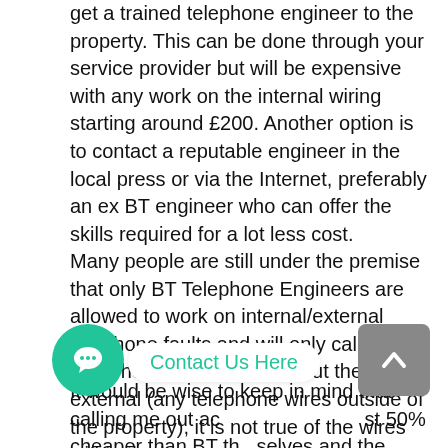get a trained telephone engineer to the property. This can be done through your service provider but will be expensive with any work on the internal wiring starting around £200. Another option is to contact a reputable engineer in the local press or via the Internet, preferably an ex BT engineer who can offer the skills required for a lot less cost.
Many people are still under the premise that only BT Telephone Engineers are allowed to work on internal/external telephone faults and will only call them out. Though this is true about the external (any telephone wires outside of the property), it is not true of the wires within the home.
It would be wise to keep in mind that calling me out ac  st 50% cheaper than BT th selves and the work are carried out to the same standards due to me being an ex-bt engineer for many
[Figure (other): Green circular chat button with speech bubble icon]
Contact Us Here
[Figure (other): Grey rounded square scroll-to-top button with upward chevron arrow]